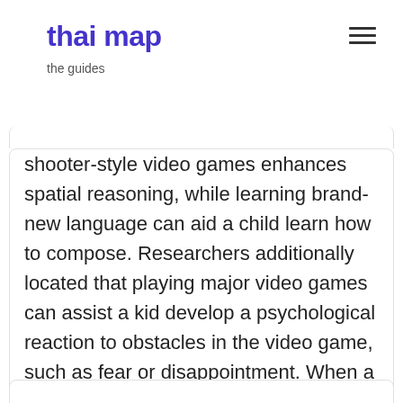thai map
the guides
shooter-style video games enhances spatial reasoning, while learning brand-new language can aid a child learn how to compose. Researchers additionally located that playing major video games can assist a kid develop a psychological reaction to obstacles in the video game, such as fear or disappointment. When a video game is enjoyable, it boosts engagement as well as motivation, and also help with problem-solving.